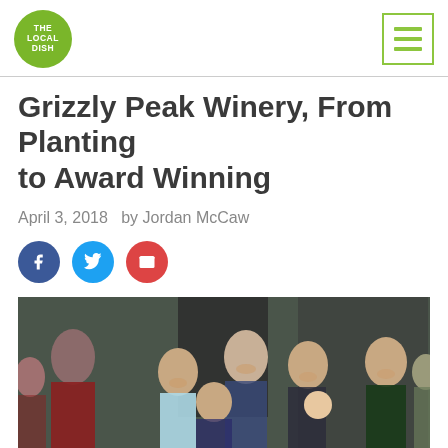The Local Dish
Grizzly Peak Winery, From Planting to Award Winning
April 3, 2018   by Jordan McCaw
[Figure (other): Share buttons: Facebook (blue circle with f icon), Twitter (light blue circle with bird icon), Email (red circle with envelope icon)]
[Figure (photo): Group photo of several people smiling at the camera, appearing to be at a winery event. Multiple people of various ages are visible, including an older man in a plaid shirt center-back, and several women.]